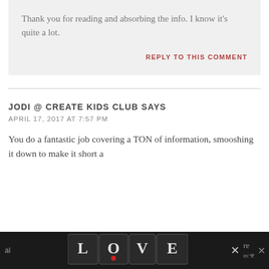Thank you for reading and absorbing the info. I know it's quite a lot.
REPLY TO THIS COMMENT
JODI @ CREATE KIDS CLUB SAYS
APRIL 17, 2017 AT 7:57 PM
You do a fantastic job covering a TON of information, smooshing it down to make it short a[nd …]
[Figure (advertisement): LOVE advertisement banner at bottom of page with close button]